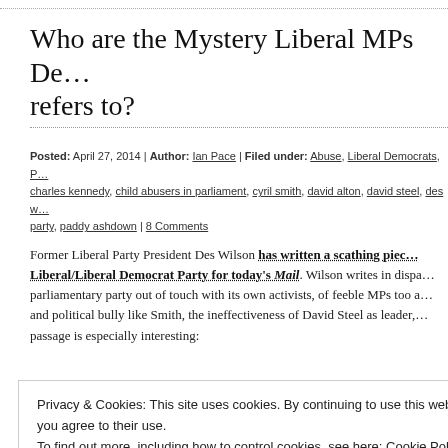Who are the Mystery Liberal MPs De... refers to?
Posted: April 27, 2014 | Author: Ian Pace | Filed under: Abuse, Liberal Democrats, ... charles kennedy, child abusers in parliament, cyril smith, david alton, david steel, des w... party, paddy ashdown | 8 Comments
Former Liberal Party President Des Wilson has written a scathing pie... Liberal/Liberal Democrat Party for today's Mail. Wilson writes in dispa... parliamentary party out of touch with its own activists, of feeble MPs too a... and political bully like Smith, the ineffectiveness of David Steel as leader,... passage is especially interesting:
Privacy & Cookies: This site uses cookies. By continuing to use this website, you agree to their use.
To find out more, including how to control cookies, see here: Cookie Policy
Close and accept